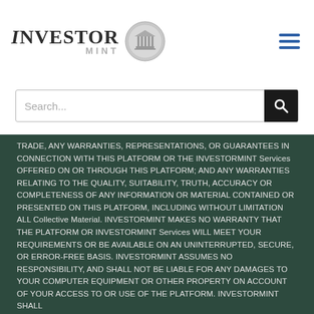INVESTOR MINT
[Figure (screenshot): Search bar with dark search button icon]
TRADE, ANY WARRANTIES, REPRESENTATIONS, OR GUARANTEES IN CONNECTION WITH THIS PLATFORM OR THE INVESTORMINT Services OFFERED ON OR THROUGH THIS PLATFORM; AND ANY WARRANTIES RELATING TO THE QUALITY, SUITABILITY, TRUTH, ACCURACY OR COMPLETENESS OF ANY INFORMATION OR MATERIAL CONTAINED OR PRESENTED ON THIS PLATFORM, INCLUDING WITHOUT LIMITATION ALL Collective Material. INVESTORMINT MAKES NO WARRANTY THAT THE PLATFORM OR INVESTORMINT Services WILL MEET YOUR REQUIREMENTS OR BE AVAILABLE ON AN UNINTERRUPTED, SECURE, OR ERROR-FREE BASIS. INVESTORMINT ASSUMES NO RESPONSIBILITY, AND SHALL NOT BE LIABLE FOR ANY DAMAGES TO YOUR COMPUTER EQUIPMENT OR OTHER PROPERTY ON ACCOUNT OF YOUR ACCESS TO OR USE OF THE PLATFORM. INVESTORMINT SHALL